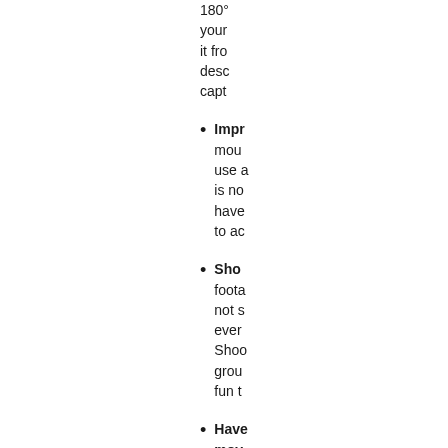180° your it from desc capt
Impr mou use a is no have to ac
Sho foota not s ever Shoo grou fun t
Have mov came as su